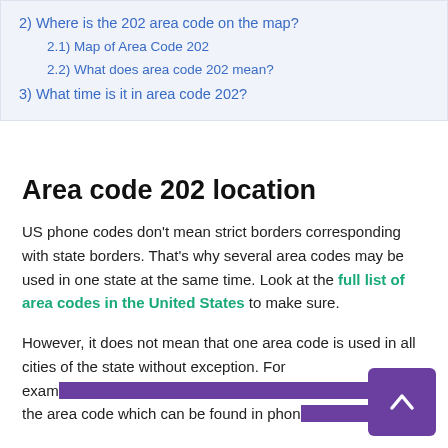2)  Where is the 202 area code on the map?
2.1)  Map of Area Code 202
2.2)  What does area code 202 mean?
3)  What time is it in area code 202?
Area code 202 location
US phone codes don't mean strict borders corresponding with state borders. That's why several area codes may be used in one state at the same time. Look at the full list of area codes in the United States to make sure.
However, it does not mean that one area code is used in all cities of the state without exception. For exam... 202 is the area code which can be found in phon... of cities of DC...